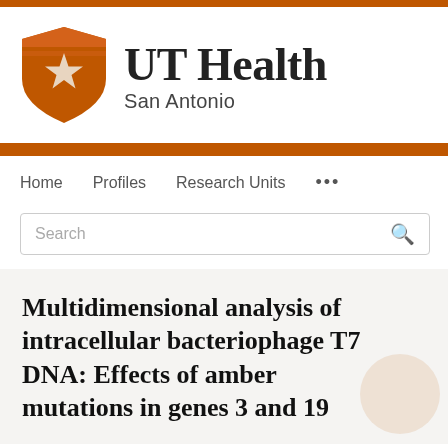[Figure (logo): UT Health San Antonio logo with orange shield bearing a white star, beside bold serif text 'UT Health' and sans-serif 'San Antonio']
Home   Profiles   Research Units   ...
Multidimensional analysis of intracellular bacteriophage T7 DNA: Effects of amber mutations in genes 3 and 19